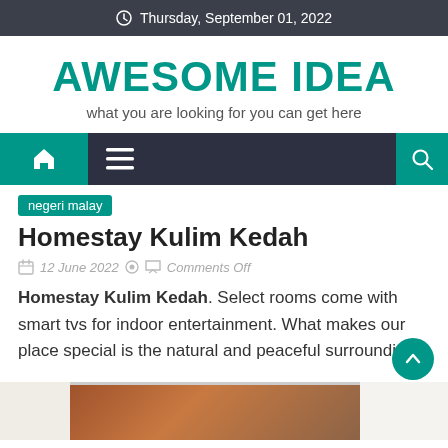Thursday, September 01, 2022
AWESOME IDEA
what you are looking for you can get here
[Figure (screenshot): Navigation bar with home icon, hamburger menu icon, and search icon on dark background with teal accent tiles]
negeri malay
Homestay Kulim Kedah
12 June 2022   Comments Off
Homestay Kulim Kedah. Select rooms come with smart tvs for indoor entertainment. What makes our place special is the natural and peaceful surrounding.
[Figure (photo): Partial photo of a room entrance with a wooden door visible]